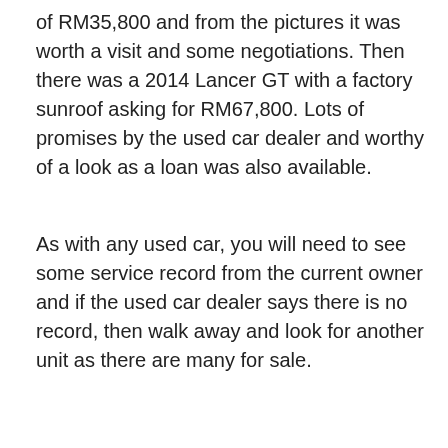of RM35,800 and from the pictures it was worth a visit and some negotiations. Then there was a 2014 Lancer GT with a factory sunroof asking for RM67,800. Lots of promises by the used car dealer and worthy of a look as a loan was also available.
As with any used car, you will need to see some service record from the current owner and if the used car dealer says there is no record, then walk away and look for another unit as there are many for sale.